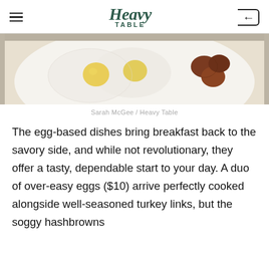Heavy Table
[Figure (photo): Close-up photo of fried eggs over-easy on a white plate with sausage links, food photography]
Sarah McGee / Heavy Table
The egg-based dishes bring breakfast back to the savory side, and while not revolutionary, they offer a tasty, dependable start to your day. A duo of over-easy eggs ($10) arrive perfectly cooked alongside well-seasoned turkey links, but the soggy hashbrowns disappoint. At best the browns are...